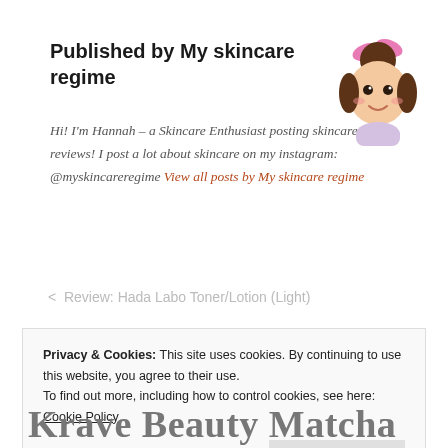Published by My skincare regime
Hi! I'm Hannah – a Skincare Enthusiast posting skincare reviews! I post a lot about skincare on my instagram: @myskincareregime View all posts by My skincare regime
[Figure (illustration): Cartoon avatar of a girl with a pink bow/headband in her hair, smiling, depicted in a chibi/emoji style illustration.]
< Review: Hada Labo Toner/Lotion (Light)
Privacy & Cookies: This site uses cookies. By continuing to use this website, you agree to their use. To find out more, including how to control cookies, see here: Cookie Policy Close and accept
Krave Beauty Matcha